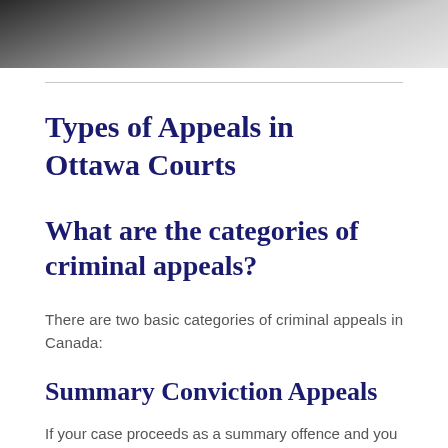[Figure (photo): Black and white photo strip at top of page, appears to be a close-up image with dark tones on the left fading to lighter tones on the right.]
Types of Appeals in Ottawa Courts
What are the categories of criminal appeals?
There are two basic categories of criminal appeals in Canada:
Summary Conviction Appeals
If your case proceeds as a summary offence and you are